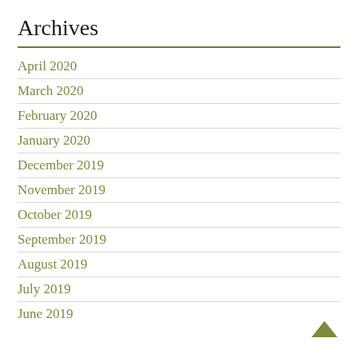Archives
April 2020
March 2020
February 2020
January 2020
December 2019
November 2019
October 2019
September 2019
August 2019
July 2019
June 2019